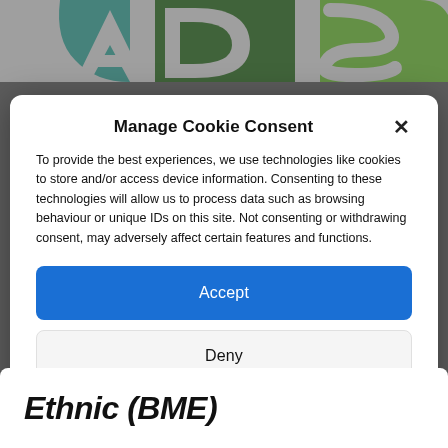[Figure (logo): Partial colorful logo with teal, green, and light green shapes visible at the top of the page]
Manage Cookie Consent
To provide the best experiences, we use technologies like cookies to store and/or access device information. Consenting to these technologies will allow us to process data such as browsing behaviour or unique IDs on this site. Not consenting or withdrawing consent, may adversely affect certain features and functions.
Accept
Deny
View preferences
Cookie Policy   Privacy & Cookie Policy, Terms of Use
Ethnic (BME)